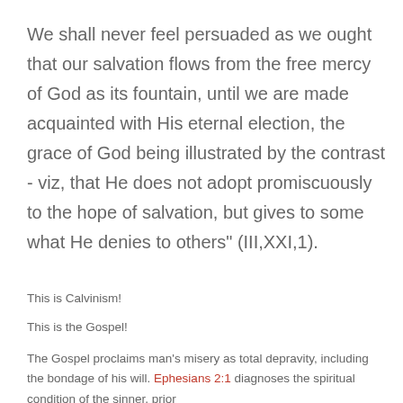We shall never feel persuaded as we ought that our salvation flows from the free mercy of God as its fountain, until we are made acquainted with His eternal election, the grace of God being illustrated by the contrast - viz, that He does not adopt promiscuously to the hope of salvation, but gives to some what He denies to others" (III,XXI,1).
This is Calvinism!
This is the Gospel!
The Gospel proclaims man's misery as total depravity, including the bondage of his will. Ephesians 2:1 diagnoses the spiritual condition of the sinner, prior